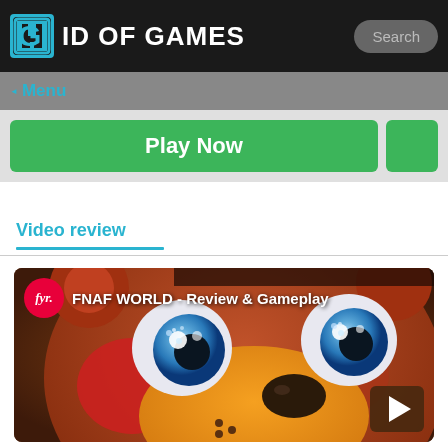ID OF GAMES
Menu
Play Now
Video review
[Figure (screenshot): Video thumbnail showing a 3D animated animal character face (Freddy Fazbear from FNAF World) with blue eyes and orange muzzle. Overlay shows fyr logo and text 'FNAF WORLD - Review & Gameplay' with a play button in the bottom right corner.]